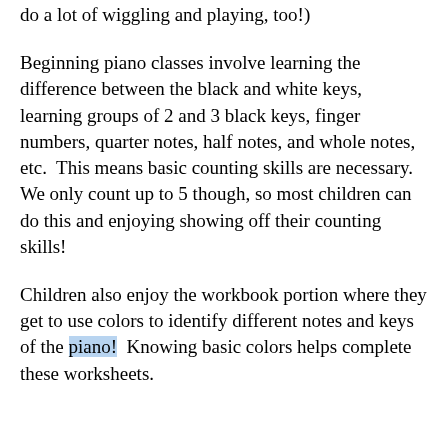do a lot of wiggling and playing, too!)
Beginning piano classes involve learning the difference between the black and white keys, learning groups of 2 and 3 black keys, finger numbers, quarter notes, half notes, and whole notes, etc.  This means basic counting skills are necessary.  We only count up to 5 though, so most children can do this and enjoying showing off their counting skills!
Children also enjoy the workbook portion where they get to use colors to identify different notes and keys of the piano!  Knowing basic colors helps complete these worksheets.